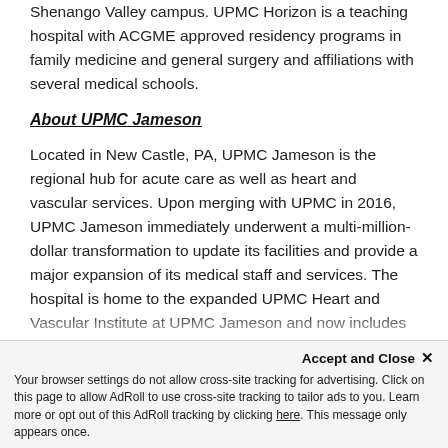Shenango Valley campus. UPMC Horizon is a teaching hospital with ACGME approved residency programs in family medicine and general surgery and affiliations with several medical schools.
About UPMC Jameson
Located in New Castle, PA, UPMC Jameson is the regional hub for acute care as well as heart and vascular services. Upon merging with UPMC in 2016, UPMC Jameson immediately underwent a multi-million-dollar transformation to update its facilities and provide a major expansion of its medical staff and services. The hospital is home to the expanded UPMC Heart and Vascular Institute at UPMC Jameson and now includes new or expanded services such as: critical care medicine, pulmonology, inpatient rehabilitation, urology, and general, bariatric, plastic, orthopaedic, and vascular surgery. In addition, UPMC Jameson is a teaching
Accept and Close ×
Your browser settings do not allow cross-site tracking for advertising. Click on this page to allow AdRoll to use cross-site tracking to tailor ads to you. Learn more or opt out of this AdRoll tracking by clicking here. This message only appears once.